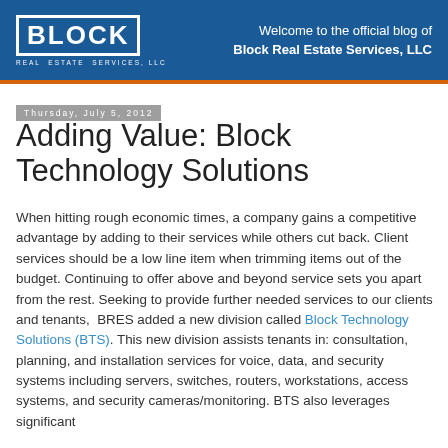Welcome to the official blog of Block Real Estate Services, LLC
Thursday, July 5, 2012
Adding Value: Block Technology Solutions
When hitting rough economic times, a company gains a competitive advantage by adding to their services while others cut back. Client services should be a low line item when trimming items out of the budget. Continuing to offer above and beyond service sets you apart from the rest. Seeking to provide further needed services to our clients and tenants,  BRES added a new division called Block Technology Solutions (BTS). This new division assists tenants in: consultation, planning, and installation services for voice, data, and security systems including servers, switches, routers, workstations, access systems, and security cameras/monitoring. BTS also leverages significant